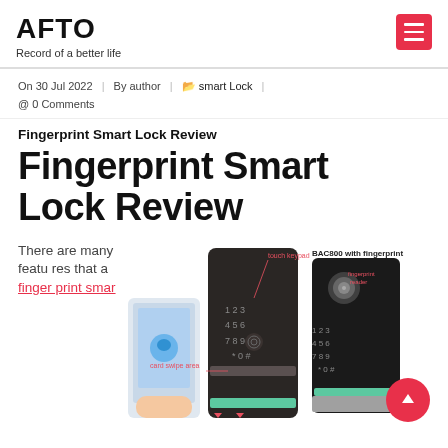AFTO — Record of a better life
On 30 Jul 2022 | By author | smart Lock | 0 Comments
Fingerprint Smart Lock Review
Fingerprint Smart Lock Review
There are many features that a fingerprint smar
[Figure (photo): Two smart lock devices (touch keypad and BAC800 with fingerprint reader) with a hand holding a smartphone, annotated with labels: touch keypad, card swipe area]